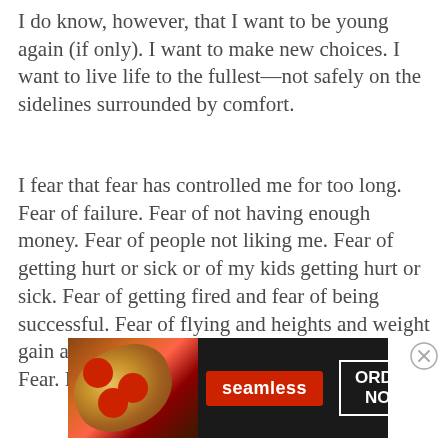I do know, however, that I want to be young again (if only). I want to make new choices. I want to live life to the fullest—not safely on the sidelines surrounded by comfort.
I fear that fear has controlled me for too long. Fear of failure. Fear of not having enough money. Fear of people not liking me. Fear of getting hurt or sick or of my kids getting hurt or sick. Fear of getting fired and fear of being successful. Fear of flying and heights and weight gain and car accidents and heartbreak. Fear. Fear. Fear.
[Figure (infographic): Seamless food delivery advertisement banner with pizza image on left, red Seamless logo button in center, and 'ORDER NOW' button with white border on dark background]